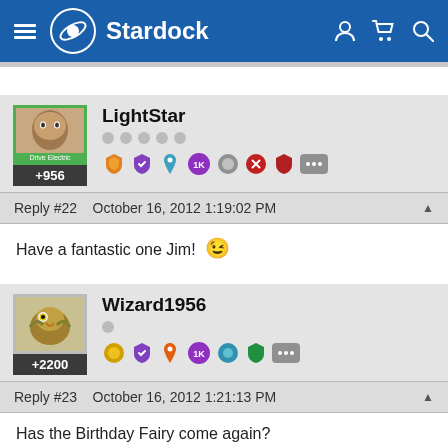Stardock
LightStar +956 Reply #22 October 16, 2012 1:19:02 PM Have a fantastic one Jim!
Wizard1956 +2200 Reply #23 October 16, 2012 1:21:13 PM Has the Birthday Fairy come again?